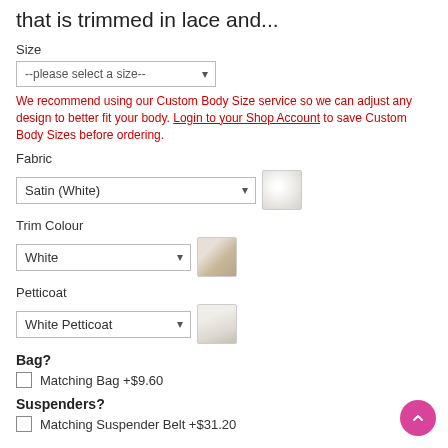that is trimmed in lace and...
Size
--please select a size--
We recommend using our Custom Body Size service so we can adjust any design to better fit your body. Login to your Shop Account to save Custom Body Sizes before ordering.
Fabric
Satin (White)
Trim Colour
White
Petticoat
White Petticoat
Bag?
Matching Bag +$9.60
Suspenders?
Matching Suspender Belt +$31.20